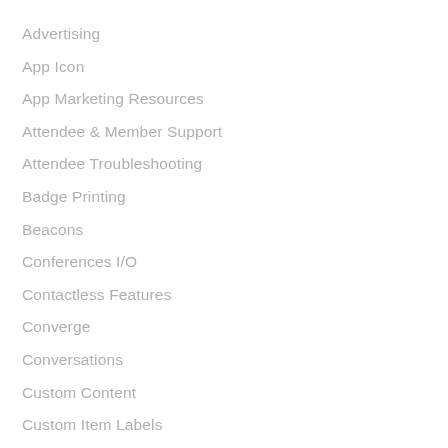Advertising
App Icon
App Marketing Resources
Attendee & Member Support
Attendee Troubleshooting
Badge Printing
Beacons
Conferences I/O
Contactless Features
Converge
Conversations
Custom Content
Custom Item Labels
Dedicated Apps